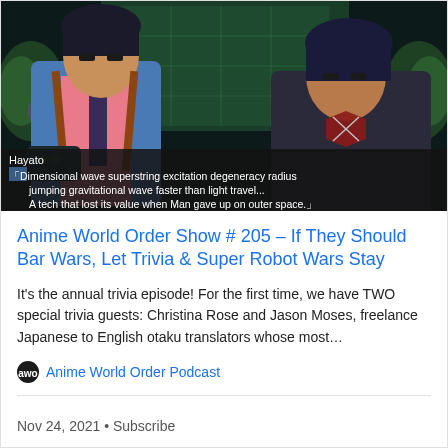[Figure (screenshot): Anime screenshot showing two characters — a man in a blue-pink jacket with a pink tie on the left (labeled 'Hayato'), and a darker-clothed man on the right, with a green radar-like background. Subtitle text at bottom reads: 「Dimensional wave superstring excitation degeneracy radius jumping gravitational wave faster than light travel... A tech that lost its value when Man gave up on outer space.」]
Anime World Order Show # 205 – If They Should Bar Wars, Let Trivia & Super Robot Wars Stay
It's the annual trivia episode! For the first time, we have TWO special trivia guests: Christina Rose and Jason Moses, freelance Japanese to English otaku translators whose most…
Anime World Order Podcast
Nov 24, 2021 • Subscribe